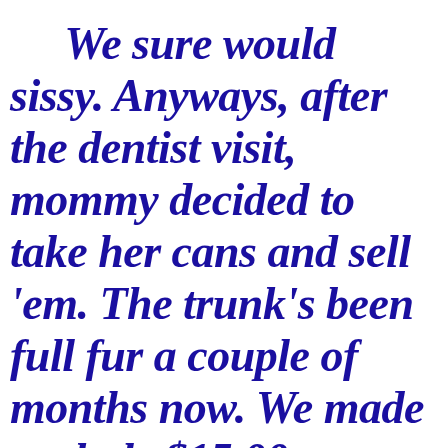We sure would sissy. Anyways, after the dentist visit, mommy decided to take her cans and sell 'em. The trunk's been full fur a couple of months now. We made a whole $15.00, so mommy treated me to